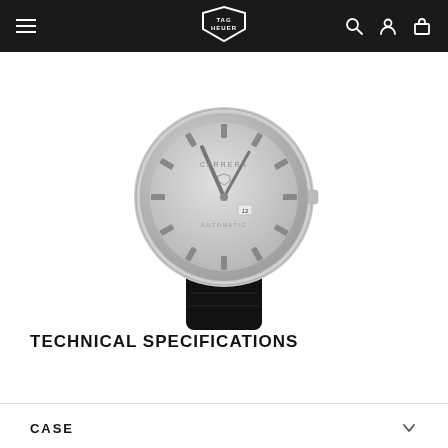TAG HEUER navigation bar with hamburger menu, logo, search, account, and bag icons
[Figure (photo): TAG Heuer Carrera watch with silver dial and black leather strap, viewed from the front, partially cropped at top]
TECHNICAL SPECIFICATIONS
CASE